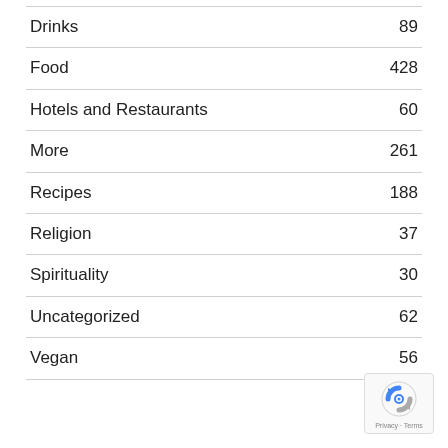| Category | Count |
| --- | --- |
| Drinks | 89 |
| Food | 428 |
| Hotels and Restaurants | 60 |
| More | 261 |
| Recipes | 188 |
| Religion | 37 |
| Spirituality | 30 |
| Uncategorized | 62 |
| Vegan | 56 |
[Figure (logo): Google reCAPTCHA badge with Privacy and Terms text]